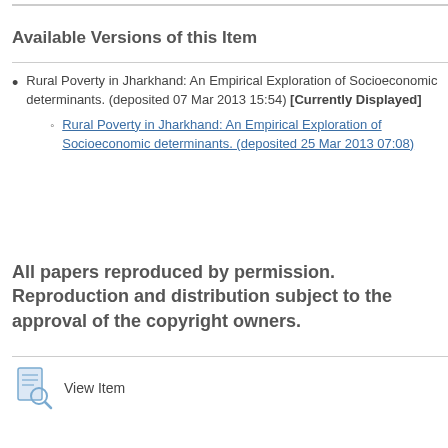Available Versions of this Item
Rural Poverty in Jharkhand: An Empirical Exploration of Socioeconomic determinants. (deposited 07 Mar 2013 15:54) [Currently Displayed]
Rural Poverty in Jharkhand: An Empirical Exploration of Socioeconomic determinants. (deposited 25 Mar 2013 07:08)
All papers reproduced by permission. Reproduction and distribution subject to the approval of the copyright owners.
View Item